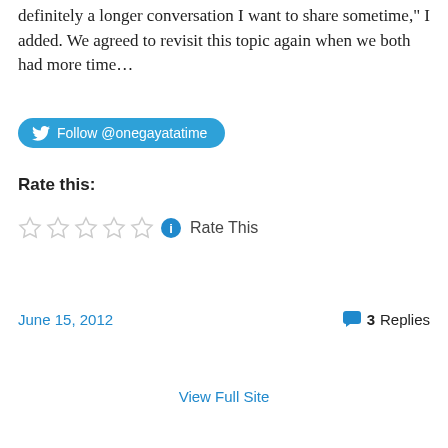definitely a longer conversation I want to share sometime," I added. We agreed to revisit this topic again when we both had more time…
[Figure (other): Twitter Follow button with @onegayatatime handle]
Rate this:
[Figure (other): Five empty star rating icons followed by an info circle icon and 'Rate This' text]
June 15, 2012
3 Replies
View Full Site